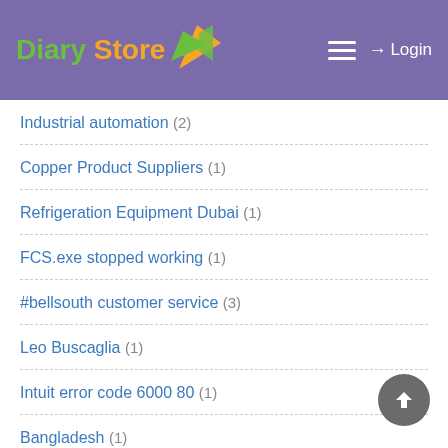Diary Store — Login
Industrial automation (2)
Copper Product Suppliers (1)
Refrigeration Equipment Dubai (1)
FCS.exe stopped working (1)
#bellsouth customer service (3)
Leo Buscaglia (1)
Intuit error code 6000 80 (1)
Bangladesh (1)
At Home Basketball Court (5)
QuickBooks Error 3120 (1)
hvac companies in dubai (1)
Problem with quickbooks Online login (1)
frameless shower door (1)